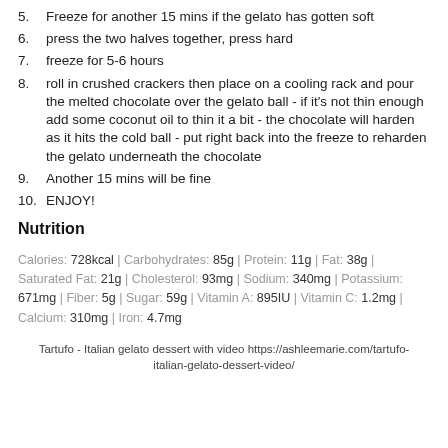5. Freeze for another 15 mins if the gelato has gotten soft
6. press the two halves together, press hard
7. freeze for 5-6 hours
8. roll in crushed crackers then place on a cooling rack and pour the melted chocolate over the gelato ball - if it's not thin enough add some coconut oil to thin it a bit - the chocolate will harden as it hits the cold ball - put right back into the freeze to reharden the gelato underneath the chocolate
9. Another 15 mins will be fine
10. ENJOY!
Nutrition
Calories: 728kcal | Carbohydrates: 85g | Protein: 11g | Fat: 38g | Saturated Fat: 21g | Cholesterol: 93mg | Sodium: 340mg | Potassium: 671mg | Fiber: 5g | Sugar: 59g | Vitamin A: 895IU | Vitamin C: 1.2mg | Calcium: 310mg | Iron: 4.7mg
Tartufo - Italian gelato dessert with video https://ashleemarie.com/tartufo-italian-gelato-dessert-video/